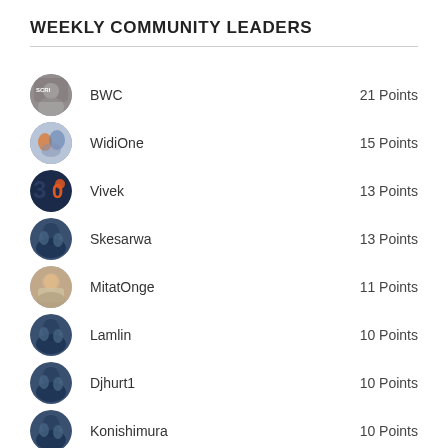WEEKLY COMMUNITY LEADERS
BWC — 21 Points
WidiOne — 15 Points
Vivek — 13 Points
Skesarwa — 13 Points
MitatOnge — 11 Points
Lamlin — 10 Points
Djhurt1 — 10 Points
Konishimura — 10 Points